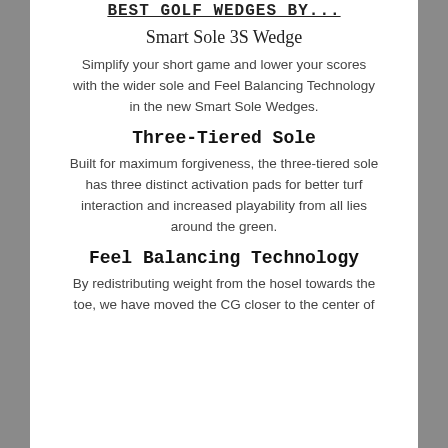BEST GOLF WEDGES BY…
Smart Sole 3S Wedge
Simplify your short game and lower your scores with the wider sole and Feel Balancing Technology in the new Smart Sole Wedges.
Three-Tiered Sole
Built for maximum forgiveness, the three-tiered sole has three distinct activation pads for better turf interaction and increased playability from all lies around the green.
Feel Balancing Technology
By redistributing weight from the hosel towards the toe, we have moved the CG closer to the center of